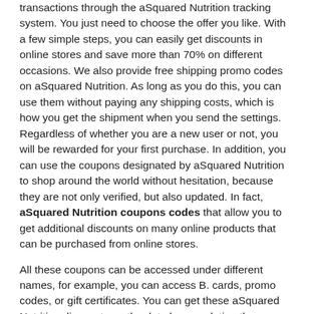transactions through the aSquared Nutrition tracking system. You just need to choose the offer you like. With a few simple steps, you can easily get discounts in online stores and save more than 70% on different occasions. We also provide free shipping promo codes on aSquared Nutrition. As long as you do this, you can use them without paying any shipping costs, which is how you get the shipment when you send the settings. Regardless of whether you are a new user or not, you will be rewarded for your first purchase. In addition, you can use the coupons designated by aSquared Nutrition to shop around the world without hesitation, because they are not only verified, but also updated. In fact, aSquared Nutrition coupons codes that allow you to get additional discounts on many online products that can be purchased from online stores.
All these coupons can be accessed under different names, for example, you can access B. cards, promo codes, or gift certificates. You can get these aSquared Nutrition discounts on the date by completing the coupon and code application. The last page of purchase usually has the application of these coupons and codes. Always pay attention to the latest coupons available every day to ensure the validity of the code. This is how you always know current offers and promotions, and you never want to skip these. aSquared Nutrition promo